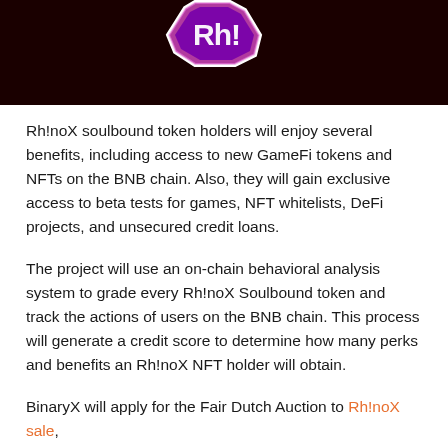[Figure (illustration): Dark red/maroon banner with a stylized purple and white logo (Rh!noX) centered at the top]
Rh!noX soulbound token holders will enjoy several benefits, including access to new GameFi tokens and NFTs on the BNB chain. Also, they will gain exclusive access to beta tests for games, NFT whitelists, DeFi projects, and unsecured credit loans.
The project will use an on-chain behavioral analysis system to grade every Rh!noX Soulbound token and track the actions of users on the BNB chain. This process will generate a credit score to determine how many perks and benefits an Rh!noX NFT holder will obtain.
BinaryX will apply for the Fair Dutch Auction to Rh!noX sale, which will…